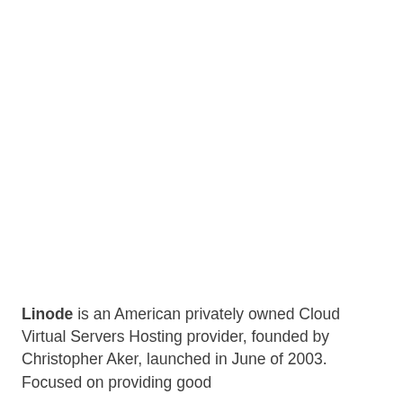Linode is an American privately owned Cloud Virtual Servers Hosting provider, founded by Christopher Aker, launched in June of 2003. Focused on providing good